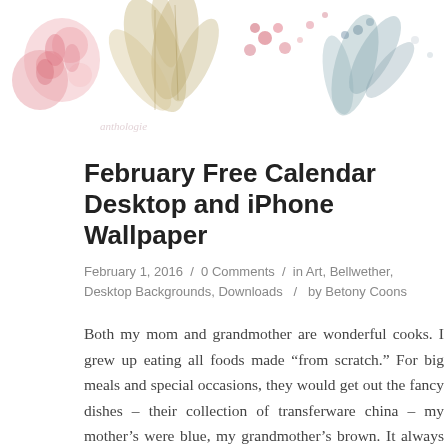[Figure (illustration): Decorative botanical illustration header with floral and leaf motifs in pink, gold/brown, and blue-grey watercolor style]
February Free Calendar Desktop and iPhone Wallpaper
February 1, 2016 / 0 Comments / in Art, Bellwether, Desktop Backgrounds, Downloads / by Betony Coons
Both my mom and grandmother are wonderful cooks. I grew up eating all foods made “from scratch.” For big meals and special occasions, they would get out the fancy dishes – their collection of transferware china – my mother’s were blue, my grandmother’s brown. It always meant that we were about to celebrate something special. To this day, I love all transferware. The patterns for February’s desktop are inspired by those dishes and the colors they come in. The plant in the middle is Lemon Balm, a nod to our theme this